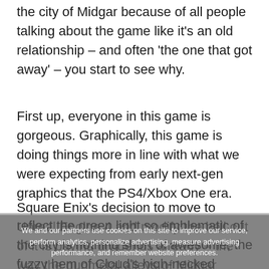the city of Midgar because of all people talking about the game like it's an old relationship – and often 'the one that got away' – you start to see why.
First up, everyone in this game is gorgeous. Graphically, this game is doing things more in line with what we were expecting from early next-gen graphics that the PS4/Xbox One era.
Square Enix's decision to move to Unreal Engine 4 and modify the hell out of it is paying dividends already – the way the gunmetal alleys of Midgar reflect the green light so emblematic of the city is nothing short of awesome, the fuzzy hem of Cloud's high-necked sweater looks at once itchy and cosy, the steel of his iconic sword gleams with intent in the low light.
We and our partners use cookies on this site to improve our service, perform analytics, personalize advertising, measure advertising performance, and remember website preferences.